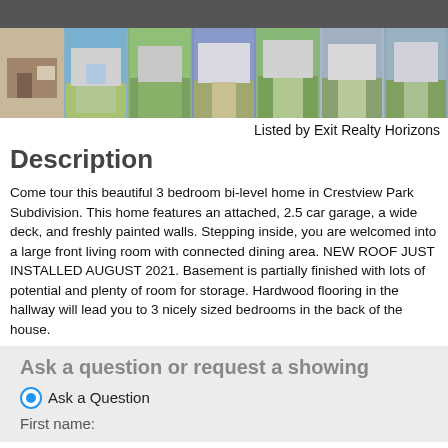[Figure (photo): Top navigation bar (dark gray)]
[Figure (photo): Strip of 7 property thumbnail photos showing interior and exterior views of a house]
Listed by Exit Realty Horizons
Description
Come tour this beautiful 3 bedroom bi-level home in Crestview Park Subdivision. This home features an attached, 2.5 car garage, a wide deck, and freshly painted walls. Stepping inside, you are welcomed into a large front living room with connected dining area. NEW ROOF JUST INSTALLED AUGUST 2021. Basement is partially finished with lots of potential and plenty of room for storage. Hardwood flooring in the hallway will lead you to 3 nicely sized bedrooms in the back of the house.
Ask a question or request a showing
Ask a Question
First name: